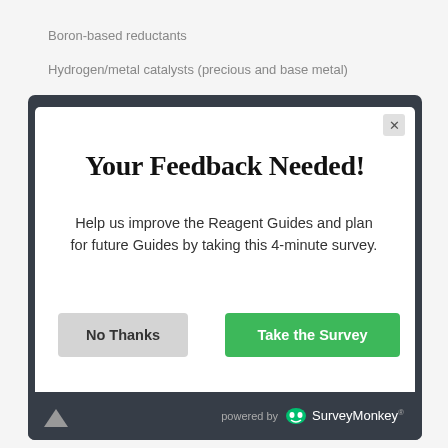Boron-based reductants
Hydrogen/metal catalysts (precious and base metal)
[Figure (screenshot): A survey popup modal with dark border. Contains title 'Your Feedback Needed!', body text 'Help us improve the Reagent Guides and plan for future Guides by taking this 4-minute survey.', a 'No Thanks' button and a green 'Take the Survey' button, and a footer 'powered by SurveyMonkey'.]